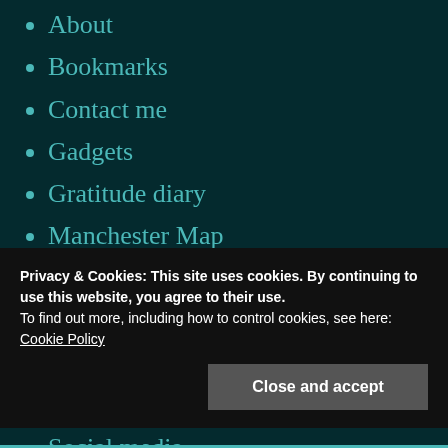About
Bookmarks
Contact me
Gadgets
Gratitude diary
Manchester Map
Microblogging
Mixes
Photos
Professional networking
Social media
Privacy & Cookies: This site uses cookies. By continuing to use this website, you agree to their use.
To find out more, including how to control cookies, see here:
Cookie Policy
Close and accept